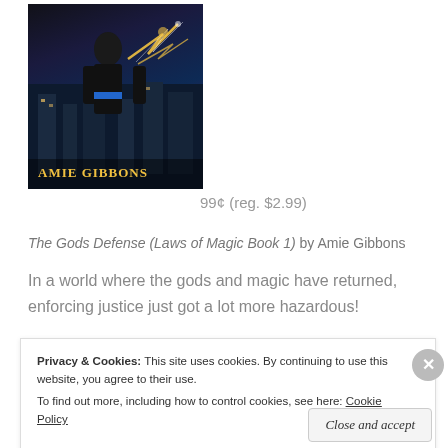[Figure (illustration): Book cover for 'The Gods Defense (Laws of Magic Book 1)' by Amie Gibbons showing a figure with sparks/lightning in an urban setting. Author name displayed in yellow at bottom.]
99¢ (reg. $2.99)
The Gods Defense (Laws of Magic Book 1) by Amie Gibbons
In a world where the gods and magic have returned, enforcing justice just got a lot more hazardous!
[Figure (screenshot): WordPress app advertisement banner with text 'the go.' and 'GET THE APP' with WordPress logo icon]
Privacy & Cookies: This site uses cookies. By continuing to use this website, you agree to their use.
To find out more, including how to control cookies, see here: Cookie Policy
Close and accept